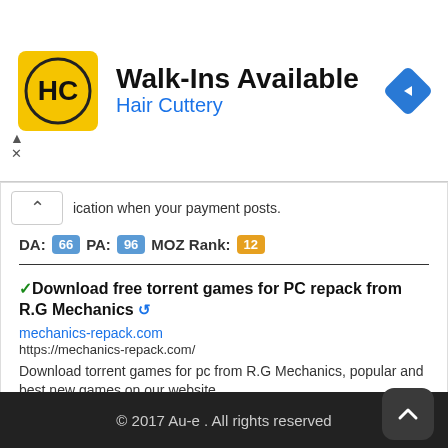[Figure (screenshot): Hair Cuttery advertisement banner with yellow HC logo, text 'Walk-Ins Available' and 'Hair Cuttery' in blue, with a blue diamond navigation icon on the right]
ication when your payment posts.
DA: 66  PA: 96  MOZ Rank: 12
✓Download free torrent games for PC repack from R.G Mechanics 🔄
mechanics-repack.com
https://mechanics-repack.com/
Download torrent games for pc from R.G Mechanics, popular and best new games on our website
DA: 98  PA: 10  MOZ Rank: 65
© 2017 Au-e . All rights reserved